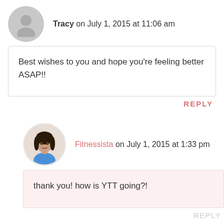Tracy on July 1, 2015 at 11:06 am
Best wishes to you and hope you're feeling better ASAP!!
REPLY
Fitnessista on July 1, 2015 at 1:33 pm
thank you! how is YTT going?!
REPLY